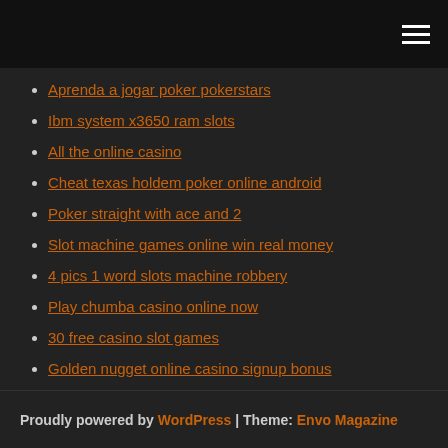[hamburger menu icon]
Aprenda a jogar poker pokerstars
Ibm system x3650 ram slots
All the online casino
Cheat texas holdem poker online android
Poker straight with ace and 2
Slot machine games online win real money
4 pics 1 word slots machine robbery
Play chumba casino online now
30 free casino slot games
Golden nugget online casino signup bonus
Fallsview casino valet parking cost
Proudly powered by WordPress | Theme: Envo Magazine